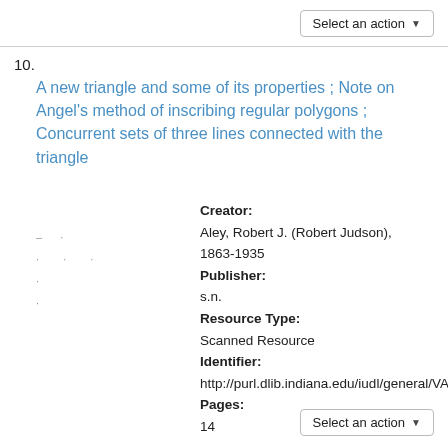Select an action
10.
A new triangle and some of its properties ; Note on Angel's method of inscribing regular polygons ; Concurrent sets of three lines connected with the triangle
Creator:
Aley, Robert J. (Robert Judson), 1863-1935
Publisher:
s.n.
Resource Type:
Scanned Resource
Identifier:
http://purl.dlib.indiana.edu/iudl/general/VA...
Pages:
14
Select an action